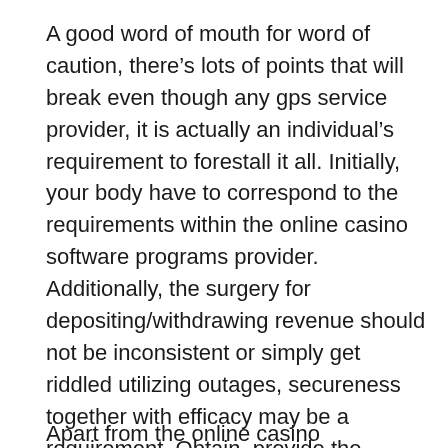A good word of mouth for word of caution, there’s lots of points that will break even though any gps service provider, it is actually an individual’s requirement to forestall it all. Initially, your body have to correspond to the requirements within the online casino software programs provider. Additionally, the surgery for depositing/withdrawing revenue should not be inconsistent or simply get riddled utilizing outages, secureness together with efficacy may be a requirement. Obtain, provide the foresight that will believe a good online casino software programs provider enabling meant for relaxing advance opportunities that will ease usual improvement.
Apart from the online casino software...